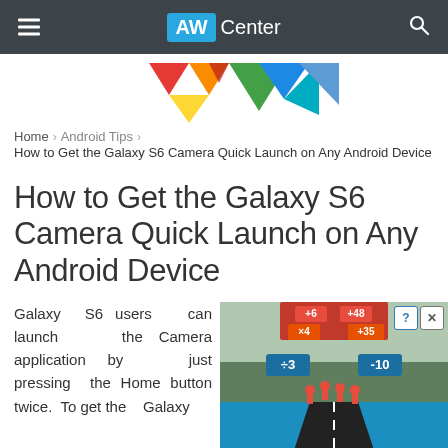AW Center
[Figure (logo): Colorful geometric triangles logo for AWCenter]
Home > Android Tips > How to Get the Galaxy S6 Camera Quick Launch on Any Android Device
How to Get the Galaxy S6 Camera Quick Launch on Any Android Device
Galaxy S6 users can launch the Camera application by just pressing the Home button twice. To get the Galaxy
[Figure (screenshot): Advertisement showing a mobile game with running figures and score multipliers (+20, x3, -10, etc.) on a road/track. The game appears to be 'Hold and More' or similar runner game.]